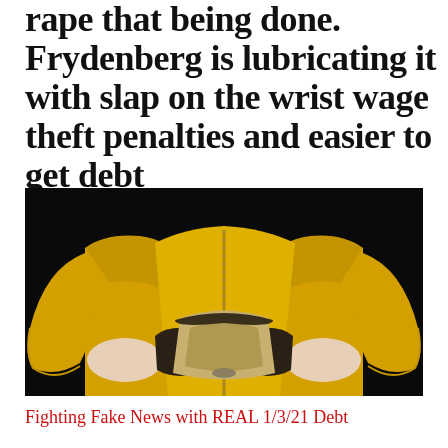rape that being done. Frydenberg is lubricating it with slap on the wrist wage theft penalties and easier to get debt
[Figure (photo): Person wearing a bright yellow coat holding open an empty dark wallet against a black background]
Fighting Fake News with REAL 1/3/21 Debt